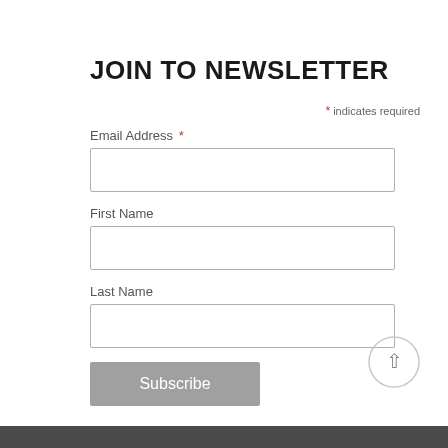JOIN TO NEWSLETTER
* indicates required
Email Address *
First Name
Last Name
Subscribe